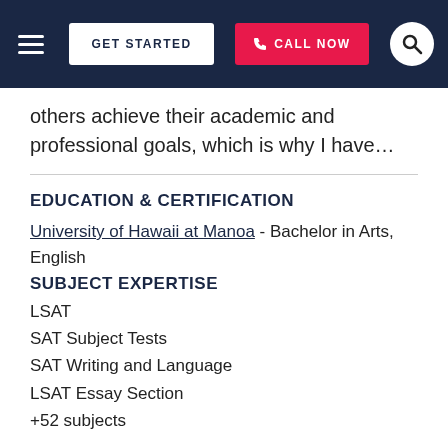GET STARTED | CALL NOW
others achieve their academic and professional goals, which is why I have...
EDUCATION & CERTIFICATION
University of Hawaii at Manoa - Bachelor in Arts, English
SUBJECT EXPERTISE
LSAT
SAT Subject Tests
SAT Writing and Language
LSAT Essay Section
+52 subjects
View this Richmond LSAT Prep